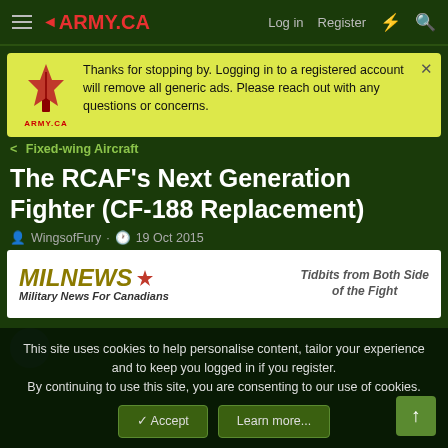ARMY.CA | Log in | Register
Thanks for stopping by. Logging in to a registered account will remove all generic ads. Please reach out with any questions or concerns.
< Fixed-wing Aircraft
The RCAF's Next Generation Fighter (CF-188 Replacement)
WingsofFury · 19 Oct 2015
[Figure (screenshot): MILNEWS.ca advertisement banner: Military News For Canadians - Tidbits from Both Side of the Fight]
dimsum
This site uses cookies to help personalise content, tailor your experience and to keep you logged in if you register. By continuing to use this site, you are consenting to our use of cookies.
✓ Accept | Learn more...